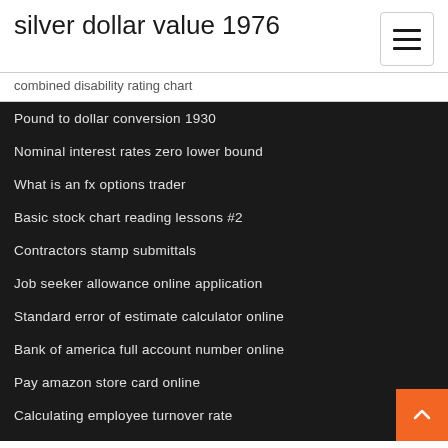silver dollar value 1976
combined disability rating chart
Pound to dollar conversion 1930
Nominal interest rates zero lower bound
What is an fx options trader
Basic stock chart reading lessons #2
Contractors stamp submittals
Job seeker allowance online application
Standard error of estimate calculator online
Bank of america full account number online
Pay amazon store card online
Calculating employee turnover rate